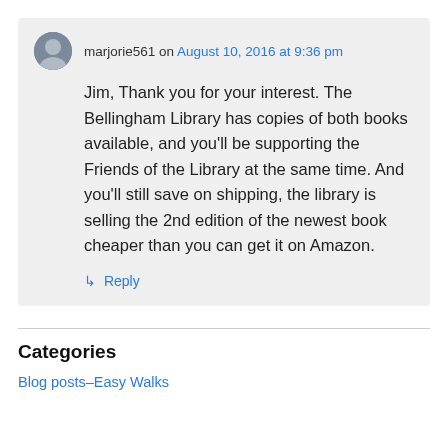marjorie561 on August 10, 2016 at 9:36 pm
Jim, Thank you for your interest. The Bellingham Library has copies of both books available, and you'll be supporting the Friends of the Library at the same time. And you'll still save on shipping, the library is selling the 2nd edition of the newest book cheaper than you can get it on Amazon.
↳ Reply
Categories
Blog posts–Easy Walks